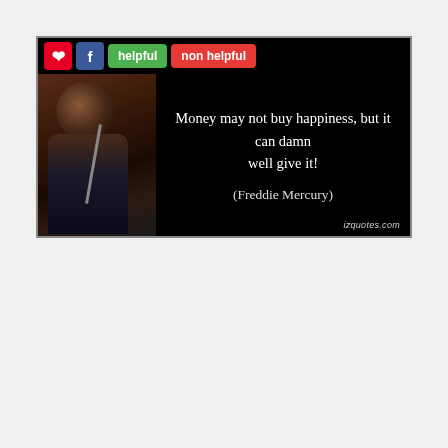[Figure (screenshot): Quote card with black background showing Freddie Mercury performing, with social sharing buttons (Pinterest, Facebook, helpful, non helpful) and quote text: 'Money may not buy happiness, but it can damn well give it! (Freddie Mercury)' with izquotes.com watermark]
[Figure (screenshot): Second content card with social sharing buttons (Pinterest, Facebook, helpful, non helpful) and an advertisement for '37 HOME AND KITCHEN ITEMS EVERYONE SHOULD OWN' with a close button]